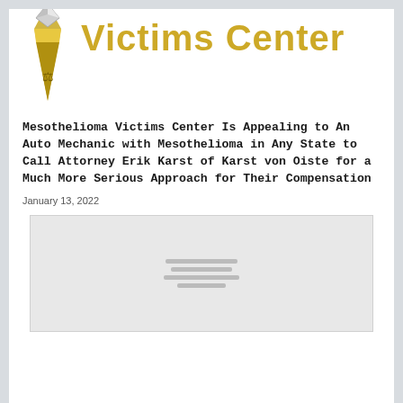[Figure (logo): Mesothelioma Victims Center logo with gavel/pencil icon on left and gold stylized text 'Victims Center' on right]
Mesothelioma Victims Center Is Appealing to An Auto Mechanic with Mesothelioma in Any State to Call Attorney Erik Karst of Karst von Oiste for a Much More Serious Approach for Their Compensation
January 13, 2022
[Figure (photo): Gray placeholder image area with loading indicator lines in the center]